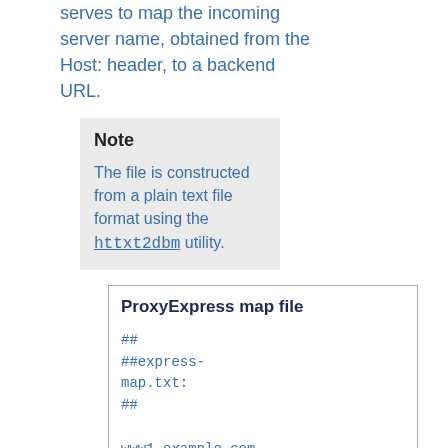serves to map the incoming server name, obtained from the Host: header, to a backend URL.
Note
The file is constructed from a plain text file format using the httxt2dbm utility.
ProxyExpress map file
##
##express-map.txt:
##

www1.example.com
http://192.168.211.2:8080
www2.example.com
http://192.168.211.12:8088